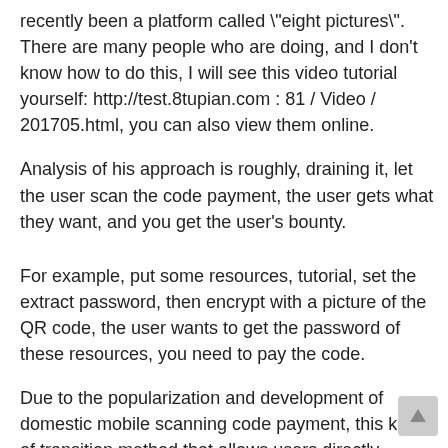recently been a platform called "eight pictures". There are many people who are doing, and I don't know how to do this, I will see this video tutorial yourself: http://test.8tupian.com : 81 / Video / 201705.html, you can also view them online.
Analysis of his approach is roughly, draining it, let the user scan the code payment, the user gets what they want, and you get the user's bounty.
For example, put some resources, tutorial, set the extract password, then encrypt with a picture of the QR code, the user wants to get the password of these resources, you need to pay the code.
Due to the popularization and development of domestic mobile scanning code payment, this kind of transition method that allows users directly payment, which is more effective than the CPA, induced registration, and more effective. But according to this idea, many people have found that the conversion rate is not very high. Users who